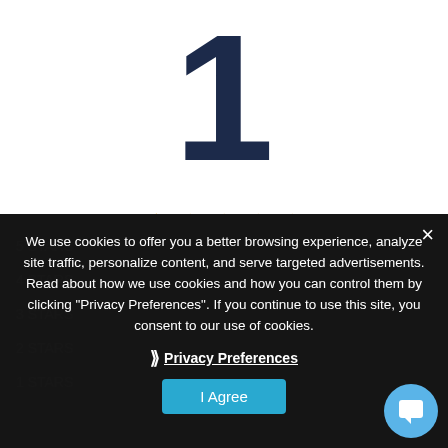1
[Figure (other): Star rating: 1 out of 5 stars (one filled, four empty)]
1 ratings
We use cookies to offer you a better browsing experience, analyze site traffic, personalize content, and serve targeted advertisements. Read about how we use cookies and how you can control them by clicking "Privacy Preferences". If you continue to use this site, you consent to our use of cookies.
Privacy Preferences
I Agree